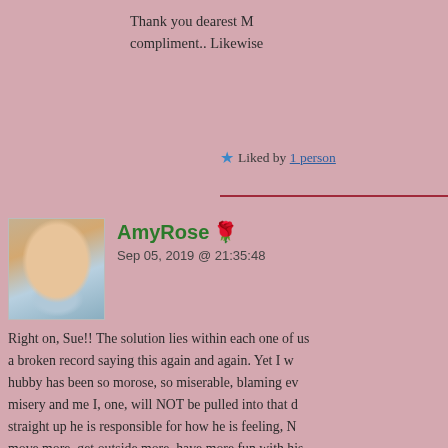Thank you dearest M compliment.. Likewise
Liked by 1 person
AmyRose 🌹
Sep 05, 2019 @ 21:35:48
Right on, Sue!! The solution lies within each one of us a broken record saying this again and again. Yet I w hubby has been so morose, so miserable, blaming ev misery and me I, one, will NOT be pulled into that d straight up he is responsible for how he is feeling, N move more, get outside more, have more fun with his news but it's like this virus has hold over him and all h about his life. And let me tell you, dear friend, this m then most people yet due to his sickness, he cannot .... I'm letting this go and I'm setting in motion with w this virus that has its hold over him is broken by me w doing so, I've gotten flushed and very warm ..... oh ye world has such a horrible hold on him, yet he is the o